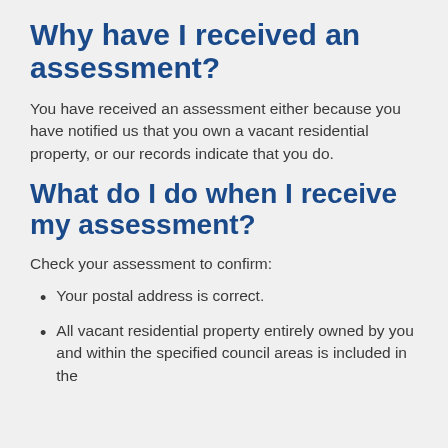Why have I received an assessment?
You have received an assessment either because you have notified us that you own a vacant residential property, or our records indicate that you do.
What do I do when I receive my assessment?
Check your assessment to confirm:
Your postal address is correct.
All vacant residential property entirely owned by you and within the specified council areas is included in the